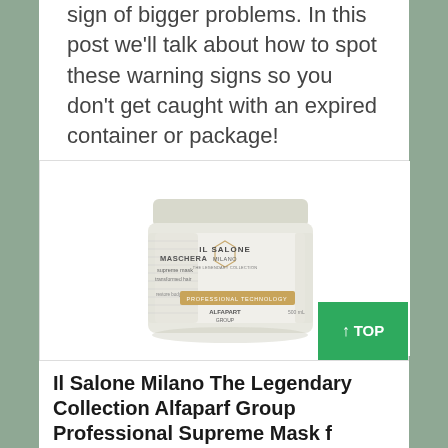sign of bigger problems. In this post we'll talk about how to spot these warning signs so you don't get caught with an expired container or package!
[Figure (photo): Il Salone Milano The Legendary Collection Alfapart Group hair mask product jar, white/cream colored container with gold and white label showing 'IL SALONE MILANO THE LEGENDARY COLLECTION', 'MASCHERA', 'supreme mask', 'transformed hair', 'PROFESSIONAL TECHNOLOGY', 'ALFAPART GROUP', 500mL]
Il Salone Milano The Legendary Collection Alfaparf Group Professional Supreme Mask f